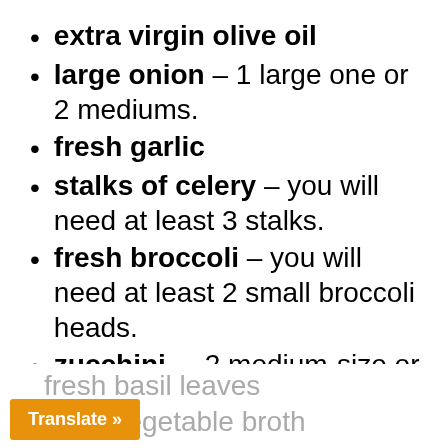extra virgin olive oil
large onion – 1 large one or 2 mediums.
fresh garlic
stalks of celery – you will need at least 3 stalks.
fresh broccoli – you will need at least 2 small broccoli heads.
zucchini – 2 medium-size or one large.
Italian parsley
fresh basil leaves
dium vegetable broth